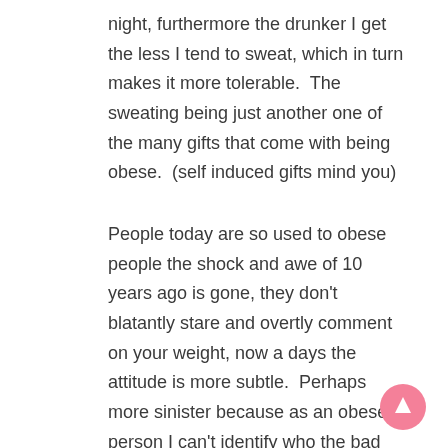night, furthermore the drunker I get the less I tend to sweat, which in turn makes it more tolerable.  The sweating being just another one of the many gifts that come with being obese.  (self induced gifts mind you)
People today are so used to obese people the shock and awe of 10 years ago is gone, they don't blatantly stare and overtly comment on your weight, now a days the attitude is more subtle.  Perhaps more sinister because as an obese person I can't identify who the bad guys or assholes are anymore.  You wouldn't believe the number of times I've walked down the hall